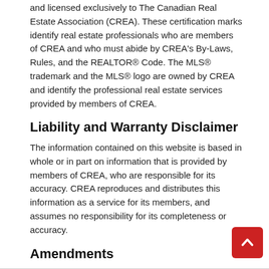and licensed exclusively to The Canadian Real Estate Association (CREA). These certification marks identify real estate professionals who are members of CREA and who must abide by CREA's By-Laws, Rules, and the REALTOR® Code. The MLS® trademark and the MLS® logo are owned by CREA and identify the professional real estate services provided by members of CREA.
Liability and Warranty Disclaimer
The information contained on this website is based in whole or in part on information that is provided by members of CREA, who are responsible for its accuracy. CREA reproduces and distributes this information as a service for its members, and assumes no responsibility for its completeness or accuracy.
Amendments
Ron Clappison may at any time amend these Terms of Use by updating this posting. All users of this site are bound by these amendments should they wish to continue accessing the website, and should therefore periodically visit this page to review any and all such amendments.